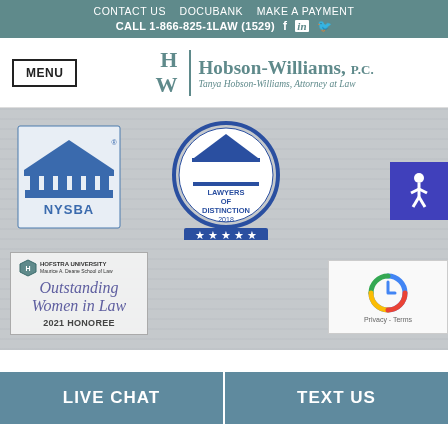CONTACT US  DOCUBANK  MAKE A PAYMENT
CALL 1-866-825-1LAW (1529)
[Figure (logo): Hobson-Williams P.C. law firm logo with HW monogram and tagline 'Tanya Hobson-Williams, Attorney at Law']
[Figure (logo): NYSBA (New York State Bar Association) logo with classical columns illustration]
[Figure (logo): Lawyers of Distinction 2018 badge with five stars]
[Figure (logo): Hofstra University Maurice A. Deane School of Law - Outstanding Women in Law 2021 HONOREE badge]
[Figure (logo): Google reCAPTCHA widget]
LIVE CHAT
TEXT US